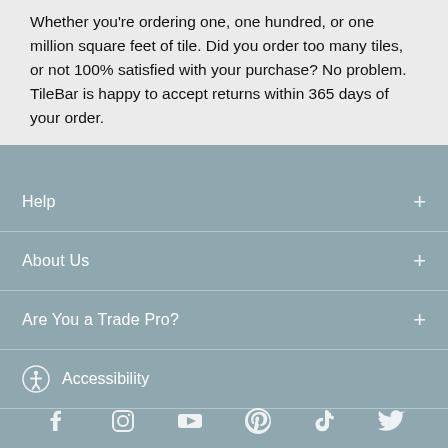Whether you're ordering one, one hundred, or one million square feet of tile. Did you order too many tiles, or not 100% satisfied with your purchase? No problem. TileBar is happy to accept returns within 365 days of your order.
Help
About Us
Are You a Trade Pro?
Accessibility
[Figure (illustration): Row of social media icons: Facebook, Instagram, YouTube, Pinterest, TikTok, Twitter]